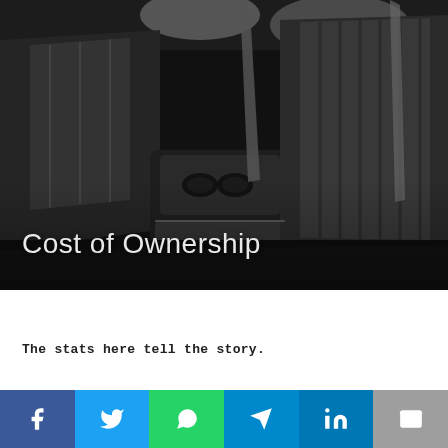[Figure (photo): Car interior photo showing rear seats with dark leather upholstery, center armrest with cup holders, and seatbelts. Gray and black color scheme.]
Cost of Ownership
The stats here tell the story.
[Figure (infographic): Social media sharing bar with icons for Facebook, Twitter, WhatsApp, Telegram, LinkedIn, and Email]